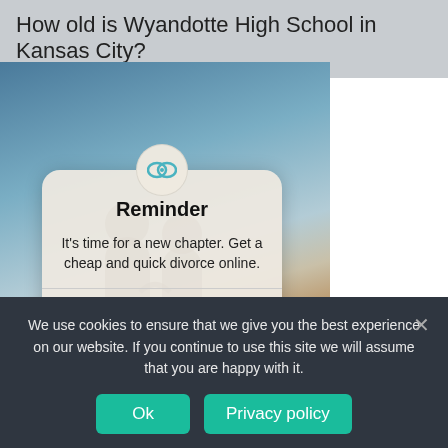How old is Wyandotte High School in Kansas City?
[Figure (screenshot): A screenshot of a webpage showing a sky background image with a reminder popup dialog overlaid. The popup has an infinity-loop icon at the top, bold title 'Reminder', body text 'It’s time for a new chapter. Get a cheap and quick divorce online.' and two action buttons: 'See Options' and 'Start Now'.]
We use cookies to ensure that we give you the best experience on our website. If you continue to use this site we will assume that you are happy with it.